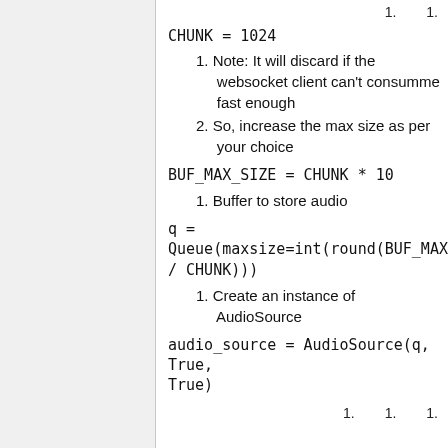1.        1.
CHUNK = 1024
1. Note: It will discard if the websocket client can't consumme fast enough
2. So, increase the max size as per your choice
BUF_MAX_SIZE = CHUNK * 10
1. Buffer to store audio
q =
Queue(maxsize=int(round(BUF_MAX_SIZE
/ CHUNK)))
1. Create an instance of AudioSource
audio_source = AudioSource(q, True,
True)
1.        1.        1.